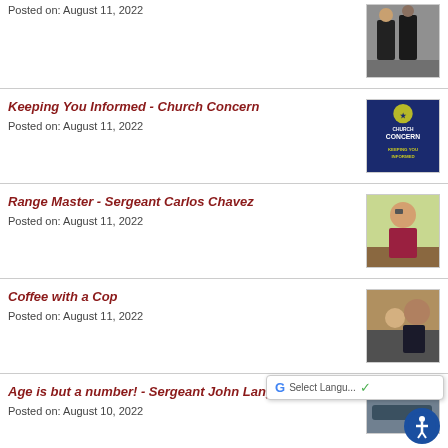Posted on: August 11, 2022
[Figure (photo): Police officers standing outdoors]
Keeping You Informed - Church Concern
Posted on: August 11, 2022
[Figure (photo): Church Concern - Keeping You Informed promotional image with dark blue background]
Range Master - Sergeant Carlos Chavez
Posted on: August 11, 2022
[Figure (photo): Sergeant Carlos Chavez standing outdoors wearing a maroon shirt]
Coffee with a Cop
Posted on: August 11, 2022
[Figure (photo): Officer with a child at a coffee event]
Age is but a number! - Sergeant John Langs
Posted on: August 10, 2022
[Figure (photo): Partial photo of a police vehicle or related image]